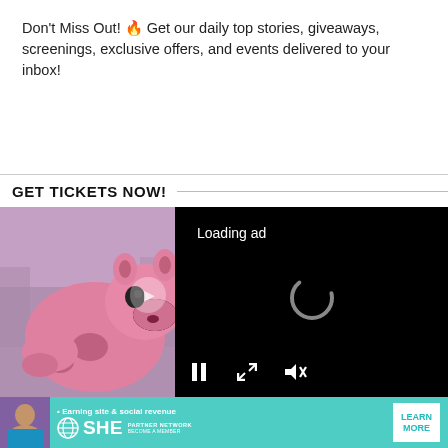Don't Miss Out! 🔥 Get our daily top stories, giveaways, screenings, exclusive offers, and events delivered to your inbox!
Subscribe
GET TICKETS NOW!
[Figure (screenshot): Video player showing a pink panther cartoon character on left half, and a black ad-loading overlay on the right half with 'Loading ad' text and a spinner, plus video controls (pause, fullscreen, mute).]
[Figure (infographic): SHE Partner Network advertisement banner with a woman portrait on the left, 'Earning site & social revenue' text, SHE logo, PARTNER NETWORK / BECOME A MEMBER text, and a LEARN MORE button on a teal background.]